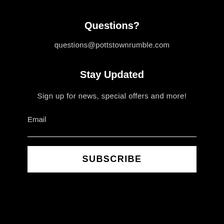Questions?
questions@pottstownrumble.com
Stay Updated
Sign up for news, special offers and more!
Email
SUBSCRIBE